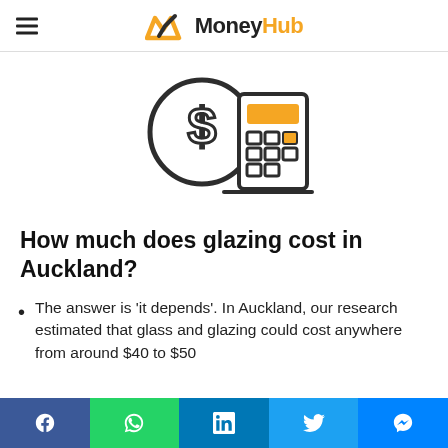MoneyHub
[Figure (illustration): A dollar coin and a calculator icon, line art style with yellow/gold and dark gray colors]
How much does glazing cost in Auckland?
The answer is 'it depends'. In Auckland, our research estimated that glass and glazing could cost anywhere from around $40 to $50 ...
Facebook, WhatsApp, LinkedIn, Twitter, Messenger social share bar